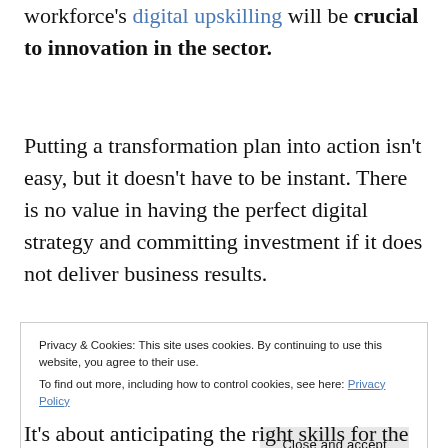workforce's digital upskilling will be crucial to innovation in the sector.
Putting a transformation plan into action isn't easy, but it doesn't have to be instant. There is no value in having the perfect digital strategy and committing investment if it does not deliver business results.
Privacy & Cookies: This site uses cookies. By continuing to use this website, you agree to their use.
To find out more, including how to control cookies, see here: Privacy Policy
It's about anticipating the right skills for the future,